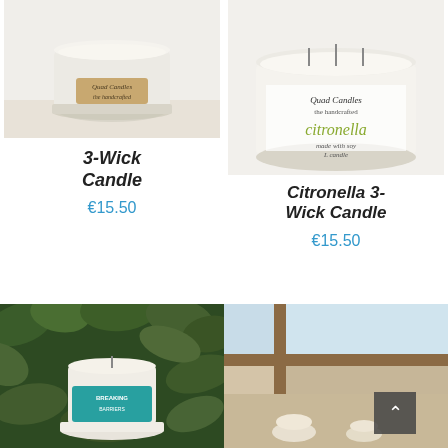[Figure (photo): 3-Wick Candle product photo - white candle in a clear glass container with a label, on a light surface]
3-Wick Candle
€15.50
[Figure (photo): Citronella 3-Wick Candle product photo - wide white candle in frosted glass jar with decorative citronella label]
Citronella 3-Wick Candle
€15.50
[Figure (photo): Candle with colorful label featuring figures, set against lush green leafy background]
[Figure (photo): Candle product in a bright room with wooden window frames and tea cups on a table]